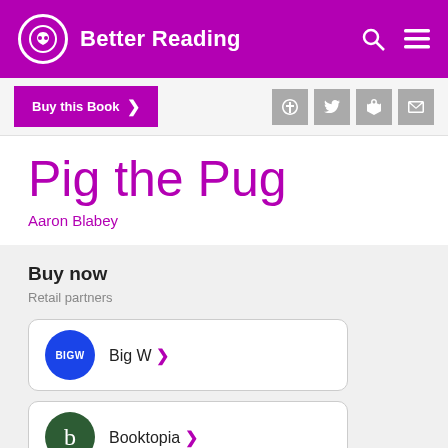Better Reading
Buy this Book
Pig the Pug
Aaron Blabey
Buy now
Retail partners
Big W
Booktopia